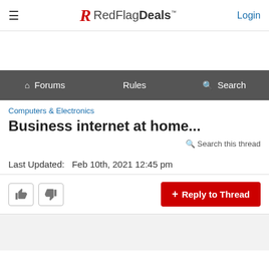RedFlagDeals — Login
Forums  Rules  Search
Computers & Electronics
Business internet at home...
Search this thread
Last Updated:   Feb 10th, 2021 12:45 pm
Reply to Thread